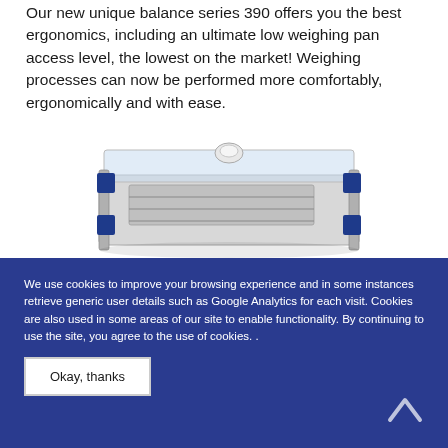Our new unique balance series 390 offers you the best ergonomics, including an ultimate low weighing pan access level, the lowest on the market! Weighing processes can now be performed more comfortably, ergonomically and with ease.
[Figure (photo): Product photo of a balance/scale (series 390) — a low-profile rectangular weighing device with blue corner accents, metal frame rails, and a transparent draft shield lid, shown from a slight overhead angle.]
We use cookies to improve your browsing experience and in some instances retrieve generic user details such as Google Analytics for each visit. Cookies are also used in some areas of our site to enable functionality. By continuing to use the site, you agree to the use of cookies. .
Okay, thanks